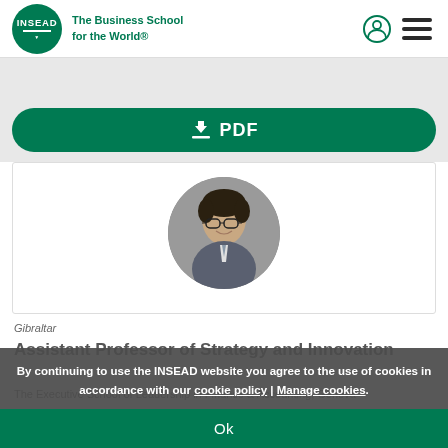INSEAD – The Business School for the World®
[Figure (other): Green PDF download button with download icon]
[Figure (photo): Circular profile photo of a man with glasses in business attire]
By continuing to use the INSEAD website you agree to the use of cookies in accordance with our cookie policy | Manage cookies.
Ok
Assistant Professor of Strategy and Innovation
The Executive School of Leadership in Finance & Accounting, Geneva